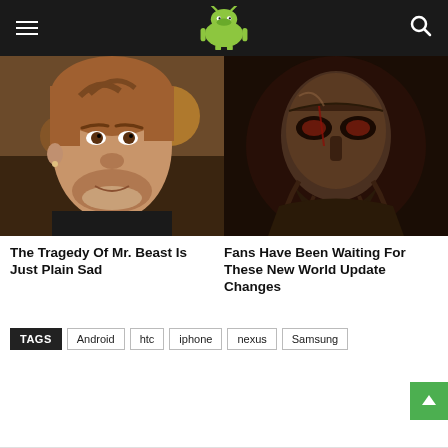Android Authority header with logo, hamburger menu, and search icon
[Figure (photo): Close-up photo of MrBeast (young man with beard) looking to the side]
[Figure (photo): Dark fantasy illustration of a masked warrior figure with beard and armor]
The Tragedy Of Mr. Beast Is Just Plain Sad
Fans Have Been Waiting For These New World Update Changes
TAGS  Android  htc  iphone  nexus  Samsung